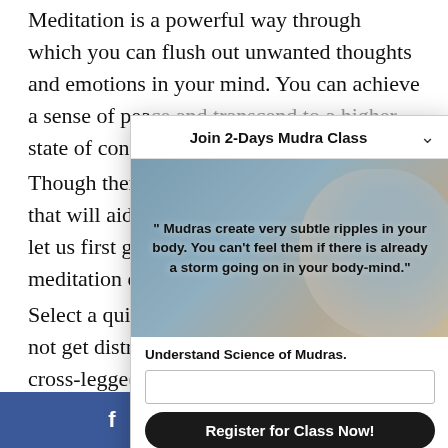Meditation is a powerful way through which you can flush out unwanted thoughts and emotions in your mind. You can achieve a sense of peace and transcend to a higher state of con...
Though ther... that will aid... let us first g... meditation e...
Select a qui... not get distr... cross-legge...
[Figure (screenshot): Popup modal for 'Join 2-Days Mudra Class' with a quote: '" Mudras create very subtle ripples in your body. You can't feel them if there is already a storm going on in your body-mind."', subtitle 'Understand Science of Mudras.', an email input field, a 'Register for Class Now!' button, and text '* Get early Bird Discount on Registration.']